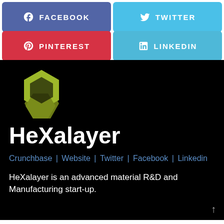[Figure (infographic): Four social media share buttons in a 2x2 grid: Facebook (purple), Twitter (light blue), Pinterest (red), LinkedIn (light blue)]
[Figure (logo): HeXalayer logo: two overlapping hexagons in olive/yellow-green on black background]
HeXalayer
Crunchbase | Website | Twitter | Facebook | Linkedin
HeXalayer is an advanced material R&D and Manufacturing start-up.